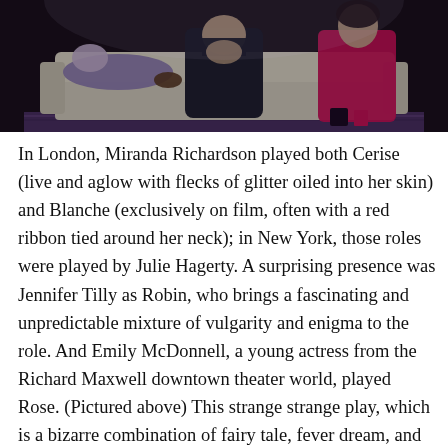[Figure (photo): Three figures on a white sofa: a person in purple lying across, a person in dark clothing hunched in the center, and a woman in a red/pink dress sitting on the right. Dark background with an ornate rug on the floor.]
In London, Miranda Richardson played both Cerise (live and aglow with flecks of glitter oiled into her skin) and Blanche (exclusively on film, often with a red ribbon tied around her neck); in New York, those roles were played by Julie Hagerty. A surprising presence was Jennifer Tilly as Robin, who brings a fascinating and unpredictable mixture of vulgarity and enigma to the role. And Emily McDonnell, a young actress from the Richard Maxwell downtown theater world, played Rose. (Pictured above) This strange strange play, which is a bizarre combination of fairy tale, fever dream, and The Story of O, is quite unlike any other